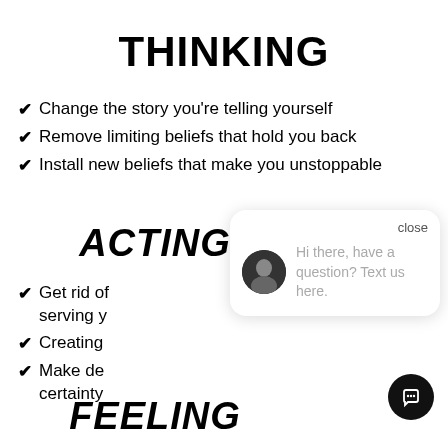THINKING
Change the story you're telling yourself
Remove limiting beliefs that hold you back
Install new beliefs that make you unstoppable
ACTING
Get rid of serving y...
Creating...
Make de... certainty...
[Figure (screenshot): Chat widget overlay with close button, avatar of a man, and message: 'Hi there, have a question? Text us here.']
FEELING